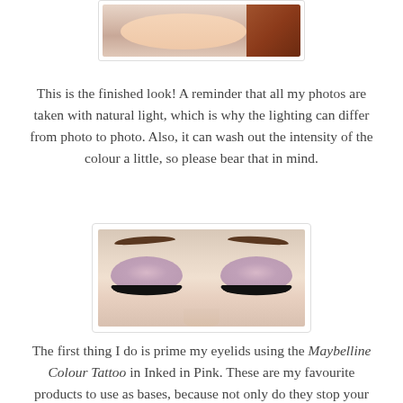[Figure (photo): Partial photo of a person's face/upper body, cropped at top of page]
This is the finished look! A reminder that all my photos are taken with natural light, which is why the lighting can differ from photo to photo. Also, it can wash out the intensity of the colour a little, so please bear that in mind.
[Figure (photo): Close-up photo of closed eyes with pink eyeshadow and dark mascara/lashes, with defined dark eyebrows]
The first thing I do is prime my eyelids using the Maybelline Colour Tattoo in Inked in Pink. These are my favourite products to use as bases, because not only do they stop your eyeshadow from creasing, but they also intensify the colour. I put this all over my eyelid, stopping just before